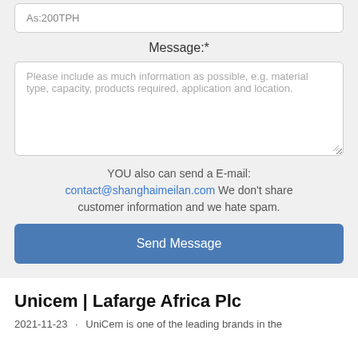As:200TPH
Message:*
Please include as much information as possible, e.g. material type, capacity, products required, application and location.
YOU also can send a E-mail: contact@shanghaimeilan.com We don't share customer information and we hate spam.
Send Message
Unicem | Lafarge Africa Plc
2021-11-23 · UniCem is one of the leading brands in the